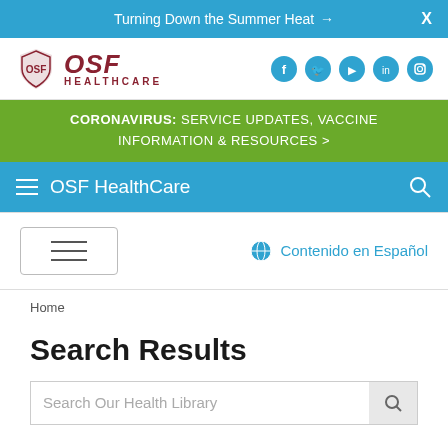Turning Down the Summer Heat →  X
[Figure (logo): OSF HealthCare logo with shield emblem and social media icons (Facebook, Twitter, YouTube, LinkedIn, Instagram)]
CORONAVIRUS: SERVICE UPDATES, VACCINE INFORMATION & RESOURCES >
OSF HealthCare
Contenido en Español
Home
Search Results
Search Our Health Library